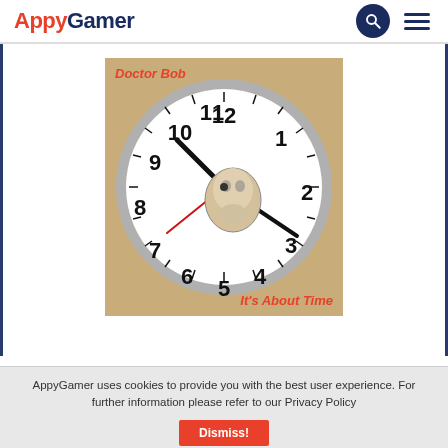AppyGamer
[Figure (illustration): Album cover for 'Doctor Bob – It's About Time'. A clock face with a skull in the center, black clock hands, and a red hand, set against a tan/khaki background. Red italic text top-left reads 'Doctor Bob' and bottom-right reads 'It's About Time'.]
AppyGamer uses cookies to provide you with the best user experience. For further information please refer to our Privacy Policy
Dismiss!